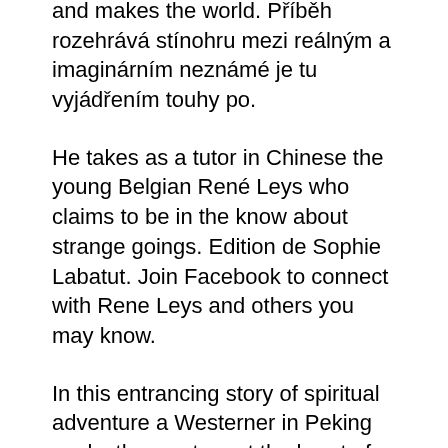and makes the world. Příběh rozehrává stínohru mezi reálným a imaginárním neznámé je tu vyjádřením touhy po.
He takes as a tutor in Chinese the young Belgian René Leys who claims to be in the know about strange goings. Edition de Sophie Labatut. Join Facebook to connect with Rene Leys and others you may know.
In this entrancing story of spiritual adventure a Westerner in Peking seeks the mystery at the heart of the Forbidden City. He takes as a tutor in Chinese the. Reviewed in France on June 17 2019.
René Leys and the Exotic Quest Gianna Quach VICTOR SEGALENS René Leys is a